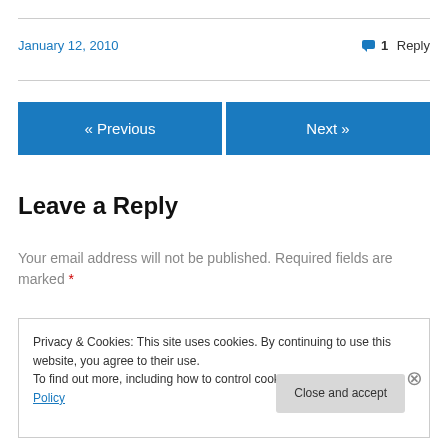January 12, 2010
1 Reply
« Previous
Next »
Leave a Reply
Your email address will not be published. Required fields are marked *
Privacy & Cookies: This site uses cookies. By continuing to use this website, you agree to their use.
To find out more, including how to control cookies, see here: Cookie Policy
Close and accept